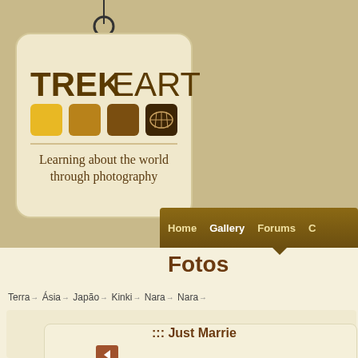[Figure (logo): TrekEarth logo tag with colored squares and world map icon, tagline: Learning about the world through photography]
Home   Gallery   Forums   C...
Fotos
Terra → Ásia → Japão → Kinki → Nara → Nara →
::: Just Marrie...